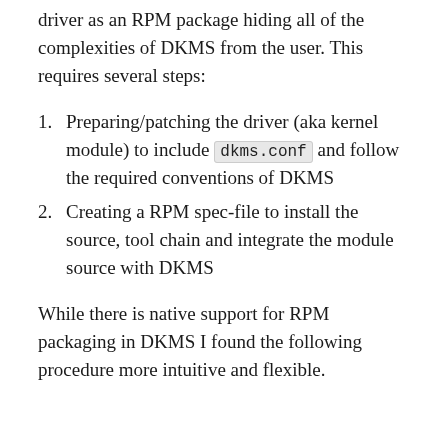driver as an RPM package hiding all of the complexities of DKMS from the user. This requires several steps:
Preparing/patching the driver (aka kernel module) to include dkms.conf and follow the required conventions of DKMS
Creating a RPM spec-file to install the source, tool chain and integrate the module source with DKMS
While there is native support for RPM packaging in DKMS I found the following procedure more intuitive and flexible.